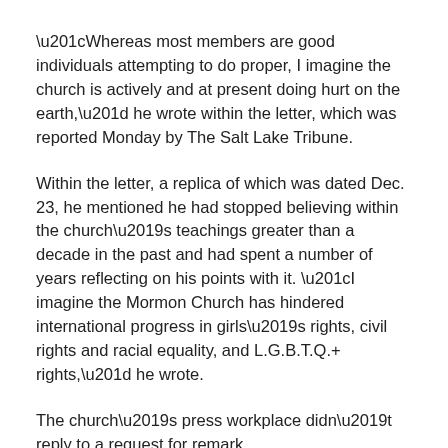“Whereas most members are good individuals attempting to do proper, I imagine the church is actively and at present doing hurt on the earth,” he wrote within the letter, which was reported Monday by The Salt Lake Tribune.
Within the letter, a replica of which was dated Dec. 23, he mentioned he had stopped believing within the church’s teachings greater than a decade in the past and had spent a number of years reflecting on his points with it. “I imagine the Mormon Church has hindered international progress in girls’s rights, civil rights and racial equality, and L.G.B.T.Q.+ rights,” he wrote.
The church’s press workplace didn’t reply to a request for remark.
Within the letter, Mr. Inexperienced, 44, requested for his information to be faraway from the church and for his solely different contact from the group to be a letter confirming that he was now not a member. One in every of his buddies and 11 of his members of the family have